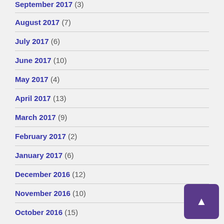September 2017 (3)
August 2017 (7)
July 2017 (6)
June 2017 (10)
May 2017 (4)
April 2017 (13)
March 2017 (9)
February 2017 (2)
January 2017 (6)
December 2016 (12)
November 2016 (10)
October 2016 (15)